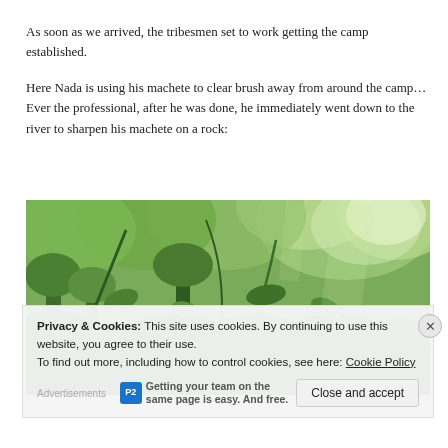As soon as we arrived, the tribesmen set to work getting the camp established.
Here Nada is using his machete to clear brush away from around the camp… Ever the professional, after he was done, he immediately went down to the river to sharpen his machete on a rock:
[Figure (photo): A dense jungle scene with lush green tropical vegetation, trees, and bright sunlight filtering through the canopy.]
Privacy & Cookies: This site uses cookies. By continuing to use this website, you agree to their use. To find out more, including how to control cookies, see here: Cookie Policy
Close and accept